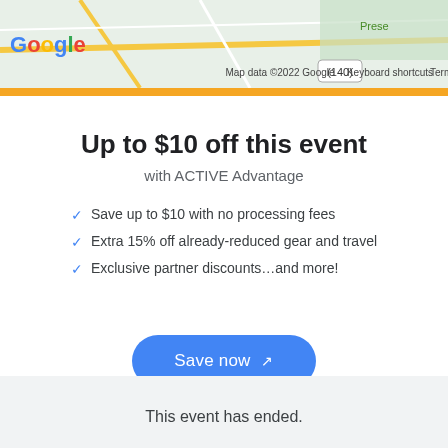[Figure (screenshot): Google Maps screenshot showing map view with road and label overlays, Google logo bottom-left, keyboard shortcuts and map data attribution text]
Up to $10 off this event
with ACTIVE Advantage
Save up to $10 with no processing fees
Extra 15% off already-reduced gear and travel
Exclusive partner discounts...and more!
Save now
Learn more
This event has ended.